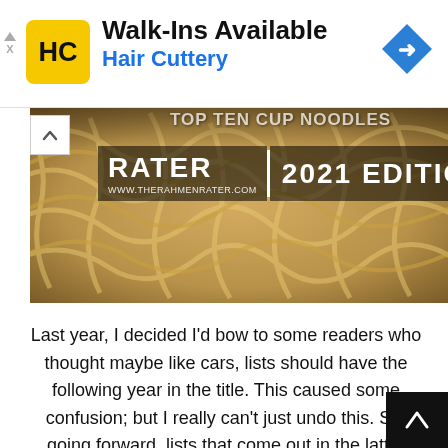[Figure (screenshot): Hair Cuttery advertisement banner with yellow HC logo, text 'Walk-Ins Available' and 'Hair Cuttery' in blue, and a blue diamond navigation icon on the right. Small ad indicator arrows and X on the left.]
[Figure (photo): Close-up photo of dry ramen noodles with overlaid text 'RATER | 2021 EDITION' and partially visible text above. WWW.THERAHMENRATER.COM shown below RATER text.]
Last year, I decided I'd bow to some readers who thought maybe like cars, lists should have the following year in the title. This caused some confusion; but I really can't just undo this. So, going forward, lists that come out in the latter half of the year, August and beyond, will have the next year's name in the title. We'll see how t goes. These are my favorite cup varieties of all re